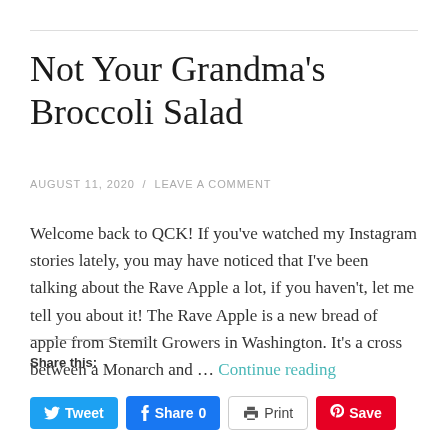Not Your Grandma’s Broccoli Salad
AUGUST 11, 2020 / LEAVE A COMMENT
Welcome back to QCK! If you've watched my Instagram stories lately, you may have noticed that I’ve been talking about the Rave Apple a lot, if you haven't, let me tell you about it! The Rave Apple is a new bread of apple from Stemilt Growers in Washington. It’s a cross between a Monarch and … Continue reading
Share this:
Tweet  Share 0  Print  Save